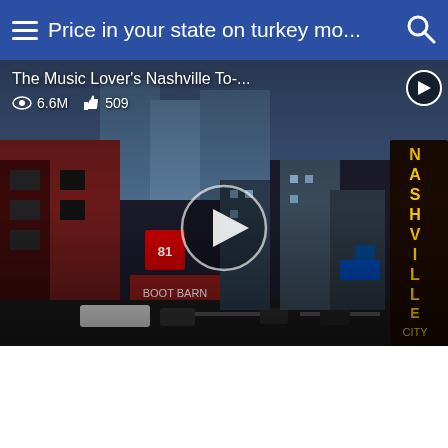Price in your state on turkey mo...
[Figure (screenshot): Video thumbnail of Nashville street scene (Broadway, downtown Nashville) with video title 'The Music Lover's Nashville To-...', view count 6.6M, like count 509, and a play button overlay in the center. A small play button icon is in the top-right corner of the video.]
The Music Lover's Nashville To-...
6.6M  509